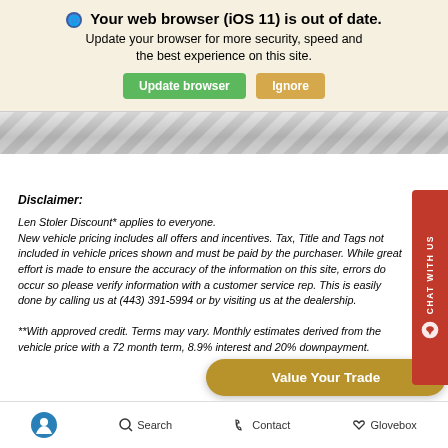Your web browser (iOS 11) is out of date.
Update your browser for more security, speed and the best experience on this site.
[Figure (screenshot): Browser update warning banner with Update browser (green) and Ignore (tan) buttons]
[Figure (illustration): Decorative gray diamond-pattern banner strip]
Disclaimer:
Len Stoler Discount* applies to everyone.
New vehicle pricing includes all offers and incentives. Tax, Title and Tags not included in vehicle prices shown and must be paid by the purchaser. While great effort is made to ensure the accuracy of the information on this site, errors do occur so please verify information with a customer service rep. This is easily done by calling us at (443) 391-5994 or by visiting us at the dealership.

**With approved credit. Terms may vary. Monthly estimates derived from the vehicle price with a 72 month term, 8.9% interest and 20% downpayment.
[Figure (other): Red CHAT WITH US vertical sidebar button on right edge]
[Figure (other): Golden Value Your Trade rounded button]
Search   Contact   Glovebox